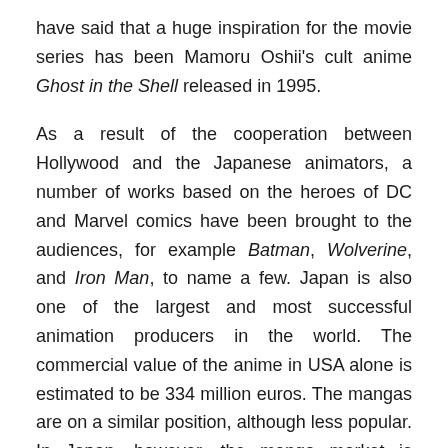have said that a huge inspiration for the movie series has been Mamoru Oshii's cult anime Ghost in the Shell released in 1995.
As a result of the cooperation between Hollywood and the Japanese animators, a number of works based on the heroes of DC and Marvel comics have been brought to the audiences, for example Batman, Wolverine, and Iron Man, to name a few. Japan is also one of the largest and most successful animation producers in the world. The commercial value of the anime in USA alone is estimated to be 334 million euros. The mangas are on a similar position, although less popular. In Japan, however, the manga market is considerably broader, in 2007 being 3,2 billion euros.